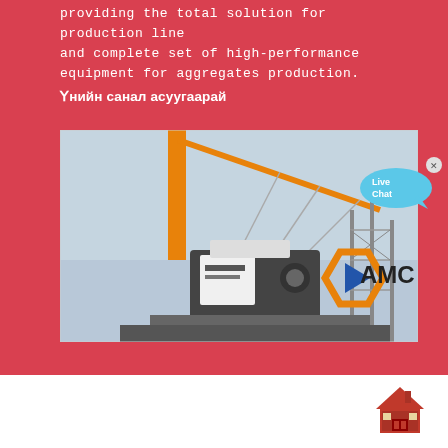providing the total solution for production line and complete set of high-performance equipment for aggregates production.
Үнийн санал асуугаарай
[Figure (photo): A crane lifting heavy industrial equipment (crusher/machine with AMC branding) at a construction site with scaffold structures in background. AMC logo visible in foreground.]
[Figure (infographic): Live Chat speech bubble widget overlay on top right of photo area]
[Figure (logo): Small house/home icon in lower right corner of page]